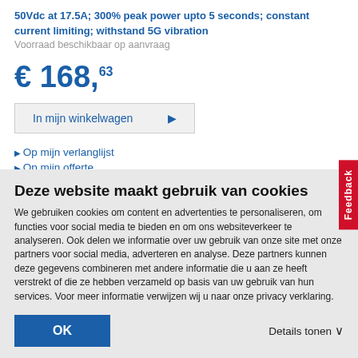50Vdc at 17.5A; 300% peak power upto 5 seconds; constant current limiting; withstand 5G vibration
Voorraad beschikbaar op aanvraag
€ 168,63
In mijn winkelwagen
Op mijn verlanglijst
Op mijn offerte
+ Vergelijk
Feedback
Deze website maakt gebruik van cookies
We gebruiken cookies om content en advertenties te personaliseren, om functies voor social media te bieden en om ons websiteverkeer te analyseren. Ook delen we informatie over uw gebruik van onze site met onze partners voor social media, adverteren en analyse. Deze partners kunnen deze gegevens combineren met andere informatie die u aan ze heeft verstrekt of die ze hebben verzameld op basis van uw gebruik van hun services. Voor meer informatie verwijzen wij u naar onze privacy verklaring.
OK
Details tonen